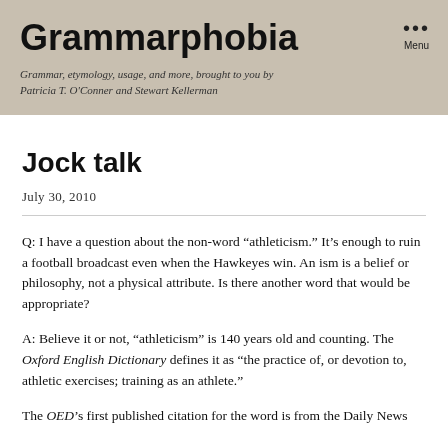Grammarphobia
Grammar, etymology, usage, and more, brought to you by Patricia T. O'Conner and Stewart Kellerman
Jock talk
July 30, 2010
Q: I have a question about the non-word “athleticism.” It’s enough to ruin a football broadcast even when the Hawkeyes win. An ism is a belief or philosophy, not a physical attribute. Is there another word that would be appropriate?
A: Believe it or not, “athleticism” is 140 years old and counting. The Oxford English Dictionary defines it as “the practice of, or devotion to, athletic exercises; training as an athlete.”
The OED’s first published citation for the word is from the Daily News